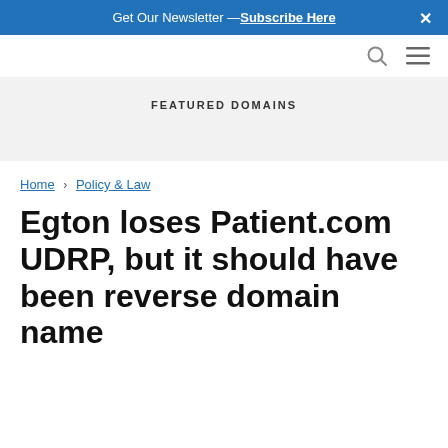Get Our Newsletter — Subscribe Here
FEATURED DOMAINS
Home › Policy & Law
Egton loses Patient.com UDRP, but it should have been reverse domain name